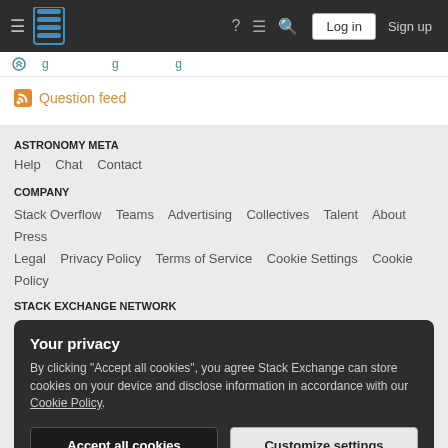Stack Exchange navigation bar with Log in and Sign up buttons
Question feed
ASTRONOMY META
Help  Chat  Contact
COMPANY
Stack Overflow  Teams  Advertising  Collectives  Talent  About  Press  Legal  Privacy Policy  Terms of Service  Cookie Settings  Cookie Policy
STACK EXCHANGE NETWORK
Your privacy
By clicking "Accept all cookies", you agree Stack Exchange can store cookies on your device and disclose information in accordance with our Cookie Policy.
Accept all cookies  Customize settings